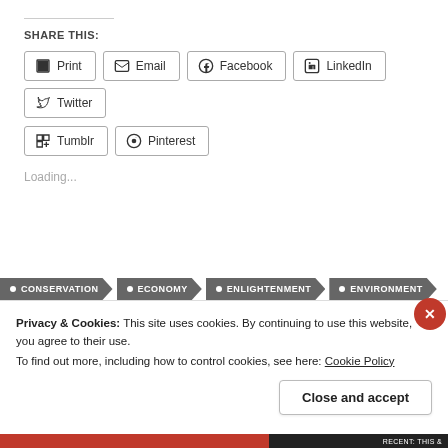SHARE THIS:
Print
Email
Facebook
LinkedIn
Twitter
Tumblr
Pinterest
Loading...
CONSERVATION  ECONOMY  ENLIGHTENMENT  ENVIRONMENT
Privacy & Cookies: This site uses cookies. By continuing to use this website, you agree to their use.
To find out more, including how to control cookies, see here: Cookie Policy
Close and accept